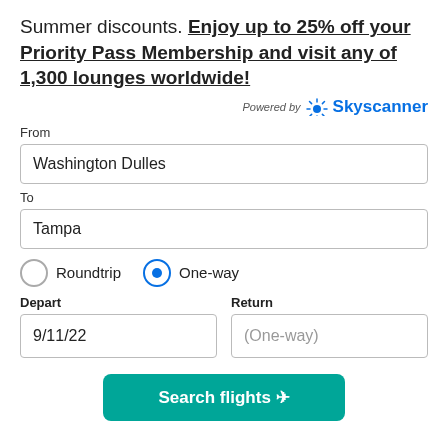Summer discounts. Enjoy up to 25% off your Priority Pass Membership and visit any of 1,300 lounges worldwide!
[Figure (logo): Powered by Skyscanner logo with sun/rays icon]
From
Washington Dulles
To
Tampa
Roundtrip   One-way (One-way selected)
Depart
9/11/22
Return
(One-way)
Search flights